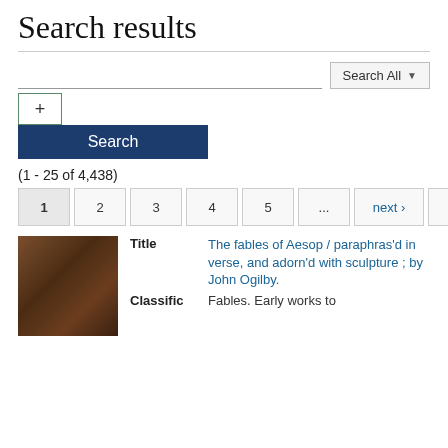Search results
[Figure (screenshot): Search interface with text input field and 'Search All' dropdown button]
[Figure (screenshot): Plus button and blue Search button]
(1 - 25 of 4,438)
[Figure (screenshot): Pagination: 1 2 3 4 5 ... next› last»]
[Figure (photo): Thumbnail image of a brown book cover]
Title	The fables of Aesop / paraphras'd in verse, and adorn'd with sculpture ; by John Ogilby.
Classific	Fables. Early works to